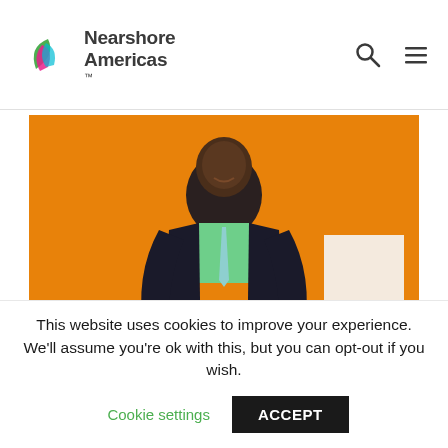Nearshore Americas
[Figure (photo): A man in a dark suit with a green shirt and striped tie stands in front of an orange wall, hands clasped in front of him, smiling at the camera.]
This website uses cookies to improve your experience. We'll assume you're ok with this, but you can opt-out if you wish.
Cookie settings   ACCEPT